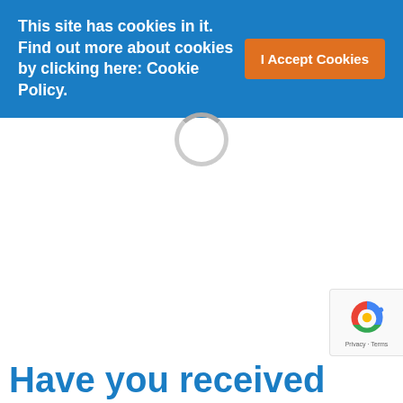This site has cookies in it. Find out more about cookies by clicking here: Cookie Policy.
[Figure (other): Loading spinner circle in light gray]
Have you received
[Figure (other): Google reCAPTCHA badge with logo and Privacy · Terms text]